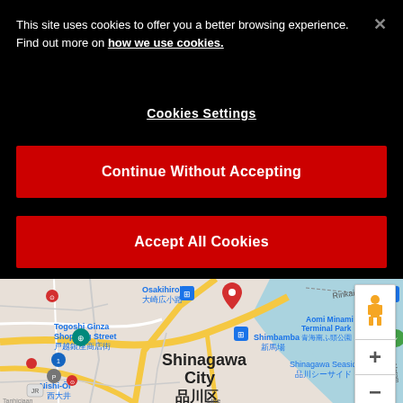This site uses cookies to offer you a better browsing experience. Find out more on how we use cookies.
Cookies Settings
Continue Without Accepting
Accept All Cookies
[Figure (map): Google Maps screenshot showing Shinagawa City (品川区) area in Tokyo, Japan, with landmarks including Togoshi Ginza Shopping Street, Osakihirokoji, Shimbamba, Aomi Minami Terminal Park, Shinagawa Seaside, and Nishi-Oi. A red location pin is visible near the center-top of the map.]